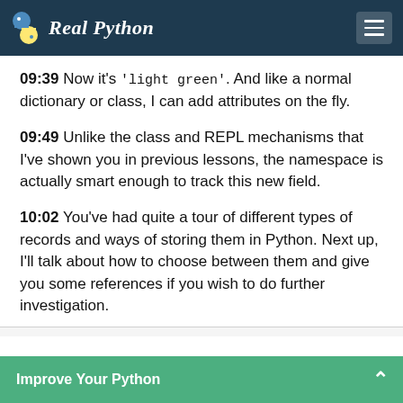Real Python
09:39 Now it's 'light green'. And like a normal dictionary or class, I can add attributes on the fly.
09:49 Unlike the class and REPL mechanisms that I've shown you in previous lessons, the namespace is actually smart enough to track this new field.
10:02 You've had quite a tour of different types of records and ways of storing them in Python. Next up, I'll talk about how to choose between them and give you some references if you wish to do further investigation.
Improve Your Python